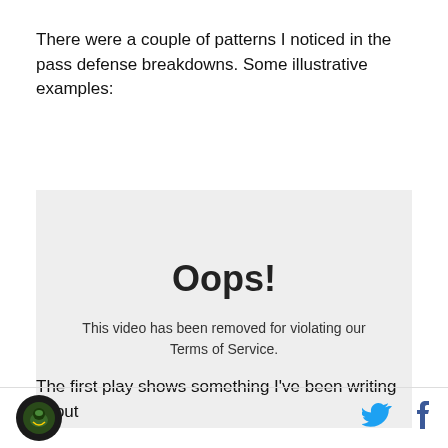There were a couple of patterns I noticed in the pass defense breakdowns. Some illustrative examples:
[Figure (screenshot): Video placeholder with gray background showing 'Oops! This video has been removed for violating our Terms of Service.']
The first play shows something I've been writing about
Logo and social icons (Twitter, Facebook)